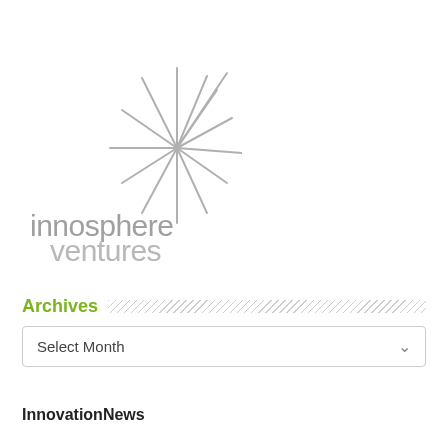[Figure (logo): Innosphere Ventures logo: a starburst/asterisk graphic in light gray above the text 'innosphere ventures' in gray lowercase letters]
Archives
Select Month
InnovationNews